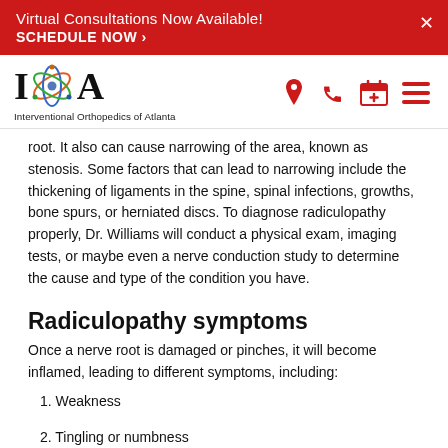Virtual Consultations Now Available! SCHEDULE NOW >
[Figure (logo): Interventional Orthopedics of Atlanta logo with stylized I and A letters and atom graphic in the middle]
root. It also can cause narrowing of the area, known as stenosis. Some factors that can lead to narrowing include the thickening of ligaments in the spine, spinal infections, growths, bone spurs, or herniated discs. To diagnose radiculopathy properly, Dr. Williams will conduct a physical exam, imaging tests, or maybe even a nerve conduction study to determine the cause and type of the condition you have.
Radiculopathy symptoms
Once a nerve root is damaged or pinches, it will become inflamed, leading to different symptoms, including:
1. Weakness
2. Tingling or numbness